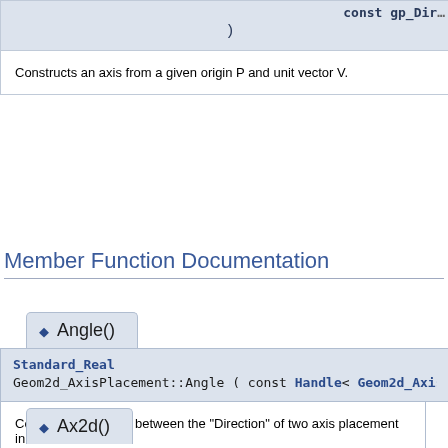const gp_Dir…
)
Constructs an axis from a given origin P and unit vector V.
Member Function Documentation
◆ Angle()
Standard_Real
Geom2d_AxisPlacement::Angle ( const Handle< Geom2d_AxisPlac…
Computes the angle between the "Direction" of two axis placement in… comprised between -Pi and Pi.
◆ Ax2d()